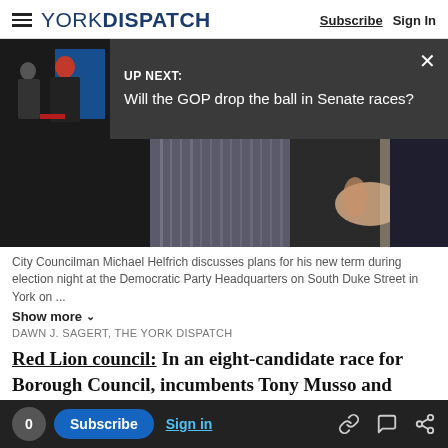YORK DISPATCH | Subscribe | Sign In
UP NEXT: Will the GOP drop the ball in Senate races?
[Figure (photo): Person on stage with red cap in front of blue backdrop]
[Figure (photo): Close-up of person in dark suit, hand visible, partial torso shot]
City Councilman Michael Helfrich discusses plans for his new term during election night at the Democratic Party Headquarters on South Duke Street in York on ...
Show more
DAWN J. SAGERT, THE YORK DISPATCH
Red Lion council: In an eight-candidate race for
Borough Council, incumbents Tony Musso and